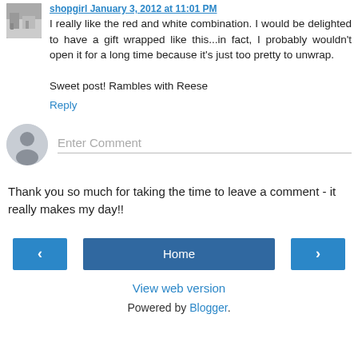shopgirl January 3, 2012 at 11:01 PM
I really like the red and white combination. I would be delighted to have a gift wrapped like this...in fact, I probably wouldn't open it for a long time because it's just too pretty to unwrap.

Sweet post! Rambles with Reese
Reply
[Figure (illustration): User avatar placeholder with silhouette person icon, circular gray background]
Enter Comment
Thank you so much for taking the time to leave a comment - it really makes my day!!
‹
Home
›
View web version
Powered by Blogger.